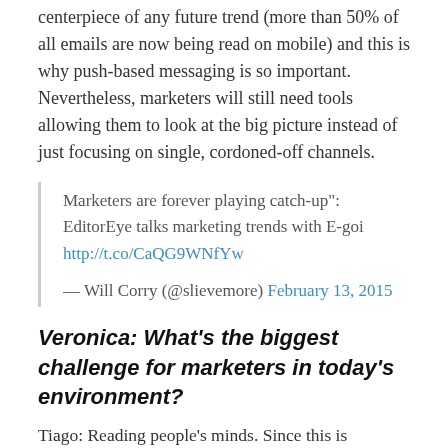centerpiece of any future trend (more than 50% of all emails are now being read on mobile) and this is why push-based messaging is so important. Nevertheless, marketers will still need tools allowing them to look at the big picture instead of just focusing on single, cordoned-off channels.
Marketers are forever playing catch-up": EditorEye talks marketing trends with E-goi http://t.co/CaQG9WNfYw
— Will Corry (@slievemore) February 13, 2015
Veronica: What's the biggest challenge for marketers in today's environment?
Tiago: Reading people's minds. Since this is impossible (except for cats :), marketers need to settle for the next best thing: sherlocking their way to customer's needs and wants.
You can guess. You can deduce. But quite often consumers are still not giving out information openly and businesses have to